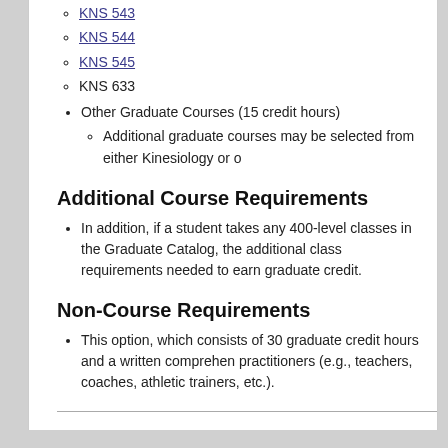KNS 543
KNS 544
KNS 545
KNS 633
Other Graduate Courses (15 credit hours)
Additional graduate courses may be selected from either Kinesiology or o
Additional Course Requirements
In addition, if a student takes any 400-level classes in the Graduate Catalog, the additional class requirements needed to earn graduate credit.
Non-Course Requirements
This option, which consists of 30 graduate credit hours and a written comprehen practitioners (e.g., teachers, coaches, athletic trainers, etc.).